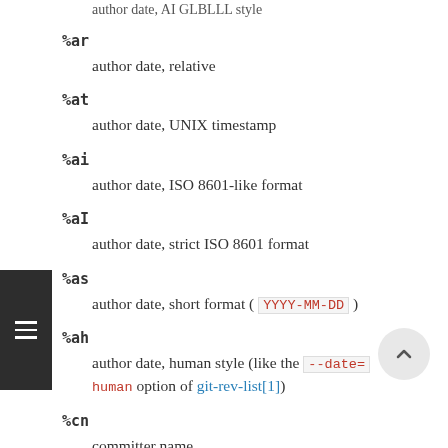%ar
author date, relative
%at
author date, UNIX timestamp
%ai
author date, ISO 8601-like format
%aI
author date, strict ISO 8601 format
%as
author date, short format ( YYYY-MM-DD )
%ah
author date, human style (like the --date=human option of git-rev-list[1])
%cn
committer name
%cN
committer name (respecting .mailmap)